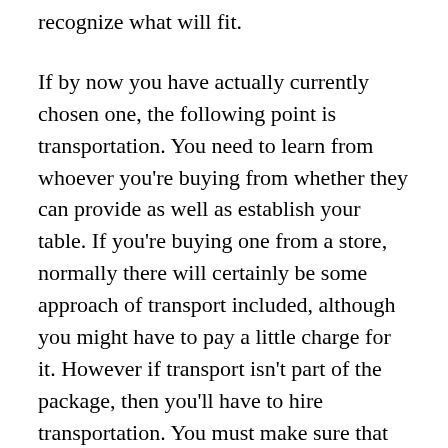recognize what will fit.
If by now you have actually currently chosen one, the following point is transportation. You need to learn from whoever you're buying from whether they can provide as well as establish your table. If you're buying one from a store, normally there will certainly be some approach of transport included, although you might have to pay a little charge for it. However if transport isn't part of the package, then you'll have to hire transportation. You must make sure that you have factored this expense in to the budget plan you have for the table desk. As soon as you have your table desk in your house, check to make nothing was harmed during the action.